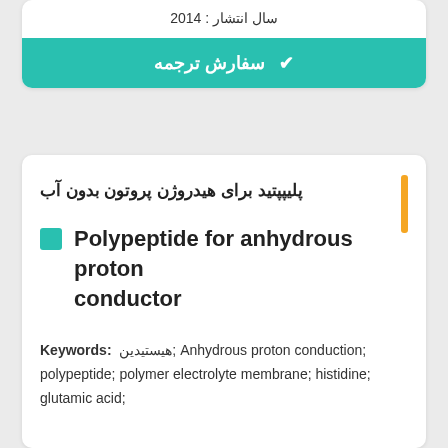سال انتشار : 2014
✔ سفارش ترجمه
پلیپپتید برای هیدروژن پروتون بدون آب
Polypeptide for anhydrous proton conductor
Keywords: هیستیدین; Anhydrous proton conduction; polypeptide; polymer electrolyte membrane; histidine; glutamic acid;